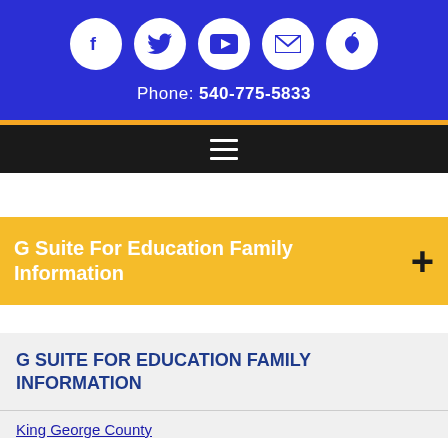Phone: 540-775-5833
G Suite For Education Family Information
G SUITE FOR EDUCATION FAMILY INFORMATION
King George County